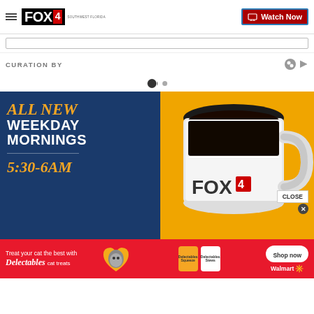FOX4 | Watch Now
CURATION BY
[Figure (screenshot): FOX4 All New Weekday Mornings 5:30-6AM promotional banner with coffee mug]
[Figure (photo): Advertisement: Treat your cat the best with Delectables cat treats — Walmart Shop now]